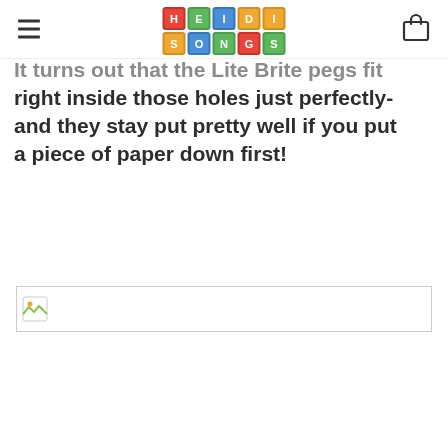HeidiSongs
It turns out that the Lite Brite pegs fit right inside those holes just perfectly- and they stay put pretty well if you put a piece of paper down first!
[Figure (photo): Broken/missing image placeholder]